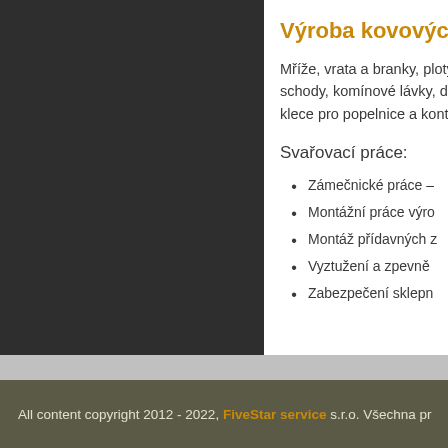[Figure (photo): Dark panel showing a partial view of metalwork or related content, left side of page]
Výroba kovových
Mříže, vrata a branky, ploty, schody, komínové lávky, dí…, klece pro popelnice a konte…
Svařovací práce:
Zámečnické práce –
Montážní práce výro…
Montáž přídavných z…
Vyztužení a zpevně…
Zabezpečení sklepn…
All content copyright 2012 - 2022, FiveStar service s.r.o. Všechna pr…